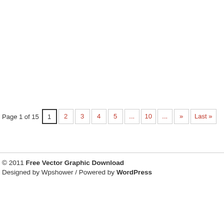Page 1 of 15  1  2  3  4  5  ...  10  ...  »  Last »
© 2011 Free Vector Graphic Download
Designed by Wpshower / Powered by WordPress